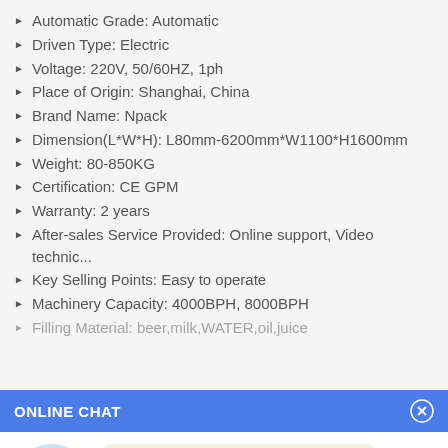Automatic Grade: Automatic
Driven Type: Electric
Voltage: 220V, 50/60HZ, 1ph
Place of Origin: Shanghai, China
Brand Name: Npack
Dimension(L*W*H): L80mm-6200mm*W1100*H1600mm
Weight: 80-850KG
Certification: CE GPM
Warranty: 2 years
After-sales Service Provided: Online support, Video technic...
Key Selling Points: Easy to operate
Machinery Capacity: 4000BPH, 8000BPH
Filling Material: beer,milk,WATER,oil,juice
ONLINE CHAT
Hi,welcome to visit our website.
Cilina